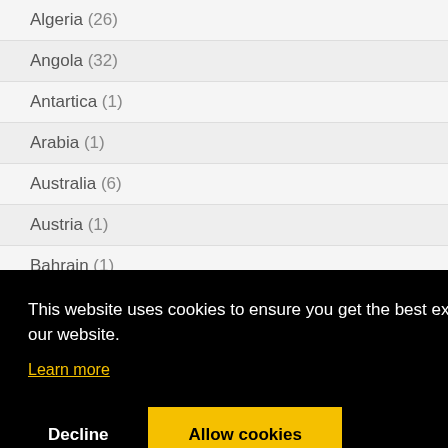Algeria (26)
Angola (32)
Antartica (1)
Arabia (1)
Australia (6)
Austria (1)
Bahrain (1)
Bali (1)
Belarus (2)
This website uses cookies to ensure you get the best experience on our website.
Learn more
Decline
Allow cookies